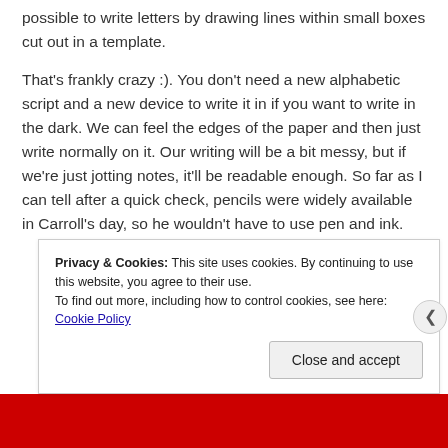possible to write letters by drawing lines within small boxes cut out in a template.
That's frankly crazy :). You don't need a new alphabetic script and a new device to write it in if you want to write in the dark. We can feel the edges of the paper and then just write normally on it. Our writing will be a bit messy, but if we're just jotting notes, it'll be readable enough. So far as I can tell after a quick check, pencils were widely available in Carroll's day, so he wouldn't have to use pen and ink.
Privacy & Cookies: This site uses cookies. By continuing to use this website, you agree to their use.
To find out more, including how to control cookies, see here: Cookie Policy